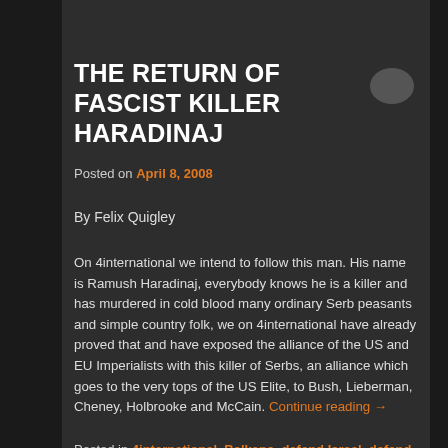THE RETURN OF FASCIST KILLER HARADINAJ
Posted on April 8, 2008
By Felix Quigley
On 4international we intend to follow this man. His name is Ramush Haradinaj, everybody knows he is a killer and has murdered in cold blood many ordinary Serb peasants and simple country folk, we on 4international have already proved that and have exposed the alliance of the US and EU Imperialists with this killer of Serbs, an alliance which goes to the very tops of the US Elite, to Bush, Lieberman, Cheney, Holbrooke and McCain. Continue reading →
Posted in 4international, Balkans, defend Israel, defend people of Sderot, Destruction of Yugoslavia, Fascist Left,